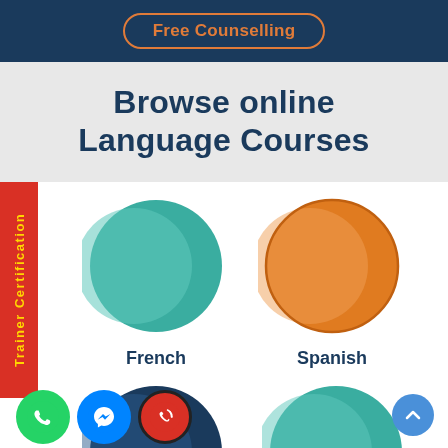Free Counselling
Browse online Language Courses
[Figure (illustration): Teal filled circle representing French language course]
French
[Figure (illustration): Orange filled circle representing Spanish language course]
Spanish
[Figure (illustration): Dark navy filled circle partially visible representing another language course (bottom left)]
[Figure (illustration): Teal filled circle partially visible representing another language course (bottom right)]
[Figure (infographic): Trainer Certification vertical red badge label on left side]
[Figure (infographic): Social media icons row: WhatsApp (green), Messenger (blue), Phone (red) at bottom left, and scroll-to-top blue button at bottom right]